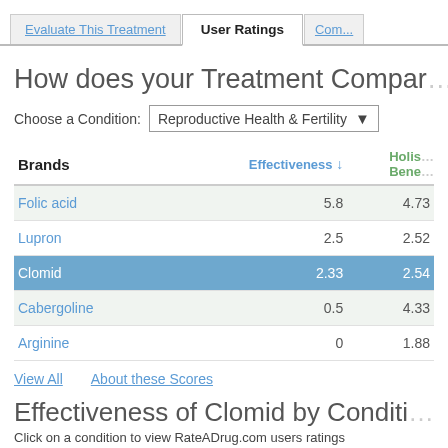Evaluate This Treatment | User Ratings | Com...
How does your Treatment Compar...
Choose a Condition: Reproductive Health & Fertility
| Brands | Effectiveness ↓ | Holis... Bene... |
| --- | --- | --- |
| Folic acid | 5.8 | 4.73 |
| Lupron | 2.5 | 2.52 |
| Clomid | 2.33 | 2.54 |
| Cabergoline | 0.5 | 4.33 |
| Arginine | 0 | 1.88 |
View All   About these Scores
Effectiveness of Clomid by Conditi...
Click on a condition to view RateADrug.com users ratings
|  | Effective... |
| --- | --- |
| Reproductive Health & Fertility |  |